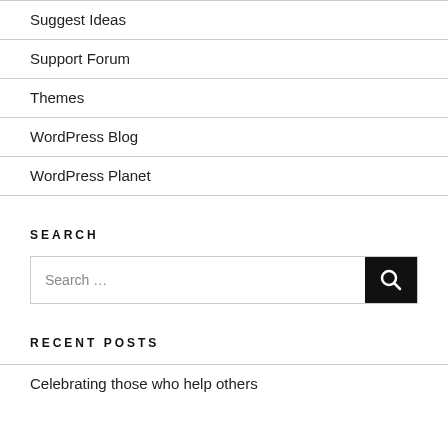Suggest Ideas
Support Forum
Themes
WordPress Blog
WordPress Planet
SEARCH
Search …
RECENT POSTS
Celebrating those who help others